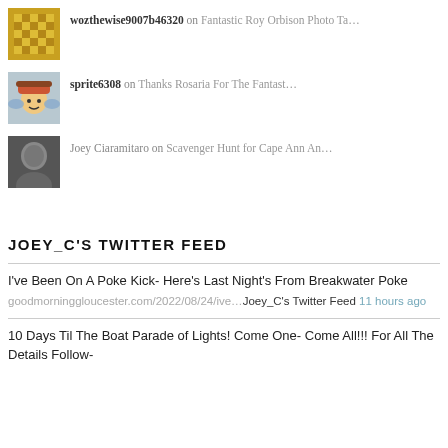wozthewise9007b46320 on Fantastic Roy Orbison Photo Ta...
sprite6308 on Thanks Rosaria For The Fantast...
Joey Ciaramitaro on Scavenger Hunt for Cape Ann An...
JOEY_C'S TWITTER FEED
I've Been On A Poke Kick- Here's Last Night's From Breakwater Poke
goodmorninggloucester.com/2022/08/24/ive... Joey_C's Twitter Feed 11 hours ago
10 Days Til The Boat Parade of Lights! Come One- Come All!!! For All The Details Follow-